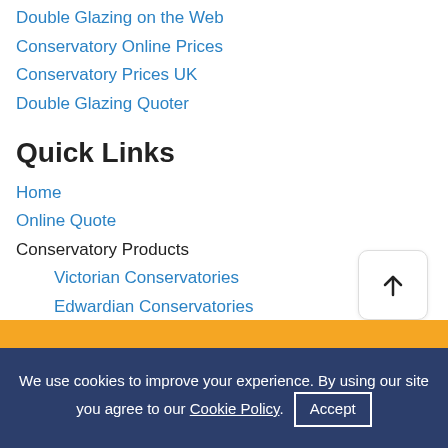Double Glazing on the Web
Conservatory Online Prices
Conservatory Prices UK
Double Glazing Quoter
Quick Links
Home
Online Quote
Conservatory Products
Victorian Conservatories
Edwardian Conservatories
Gable Conservatories
Lean-To Conservatories
Conservatory Roofs
Conservatory Buyers Guide
We use cookies to improve your experience. By using our site you agree to our Cookie Policy.
Accept